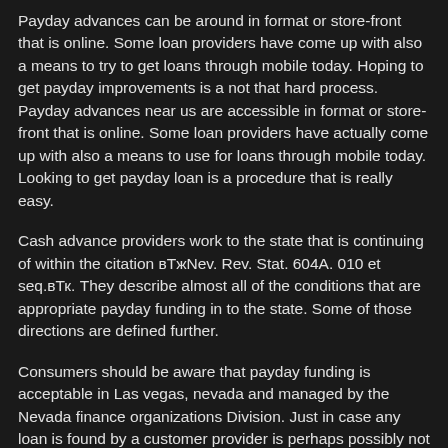Payday advances can be around in format or store-front that is online. Some loan providers have come up with also a means to try to get loans through mobile today. Hoping to get payday improvements is a not that hard process. Payday advances near us are accessible in format or store-front that is online. Some loan providers have actually come up with also a means to use for loans through mobile today. Looking to get payday loan is a procedure that is really easy.
Cash advance providers work to the state that is continuing of within the citation в„–Nev. Rev. Stat. 604A. 010 et seq.в„–. They describe almost all of the conditions that are appropriate payday funding in to the state. Some of those directions are defined further.
Consumers should be aware that payday funding is acceptable in Las vegas, nevada and managed by the Nevada finance organizations Division. Just in case any loan is found by a customer provider is perhaps possibly not complying along with the guidelines stated on the debtor must contact and inform this division. As Nevada will likely not put any limitation on finance costs for pay day loans, they might come to be a actually high priced selection for an advance loan this is certainly fast. There are numerous loan providers which can be payday in Las vegas, nevada, we've got detailed a true quantity of these for you